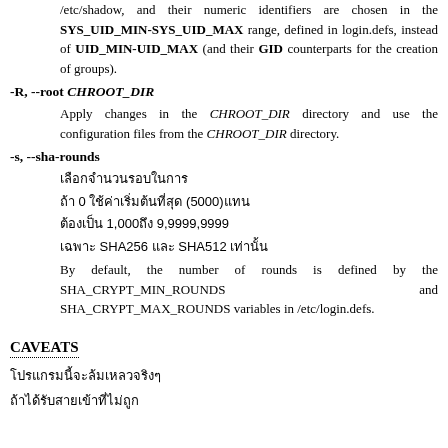/etc/shadow, and their numeric identifiers are chosen in the SYS_UID_MIN-SYS_UID_MAX range, defined in login.defs, instead of UID_MIN-UID_MAX (and their GID counterparts for the creation of groups).
-R, --root CHROOT_DIR
Apply changes in the CHROOT_DIR directory and use the configuration files from the CHROOT_DIR directory.
-s, --sha-rounds
[non-latin text]
[non-latin text] 0 [non-latin text] (5000)[non-latin]
[non-latin text] 1,000[non-latin] 9,9999,9999
[non-latin text] SHA256 [non-latin] SHA512 [non-latin text]
By default, the number of rounds is defined by the SHA_CRYPT_MIN_ROUNDS and SHA_CRYPT_MAX_ROUNDS variables in /etc/login.defs.
CAVEATS
[non-latin text]
[non-latin text]